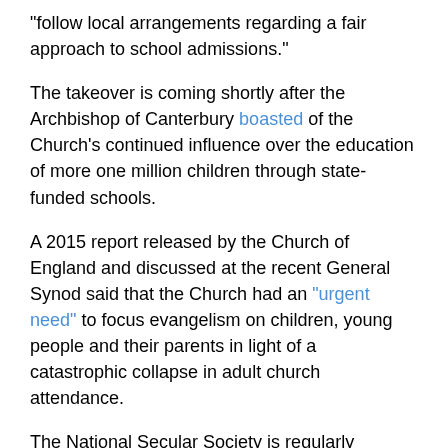"follow local arrangements regarding a fair approach to school admissions."
The takeover is coming shortly after the Archbishop of Canterbury boasted of the Church's continued influence over the education of more one million children through state-funded schools.
A 2015 report released by the Church of England and discussed at the recent General Synod said that the Church had an "urgent need" to focus evangelism on children, young people and their parents in light of a catastrophic collapse in adult church attendance.
The National Secular Society is regularly contacted by parents, teachers and governors concerned about a push by religious groups to assert a much more aggressive religious ethos in faith schools. One parent governor told the NSS recently that he felt very "uncomfortable" about an "aggressive new push to